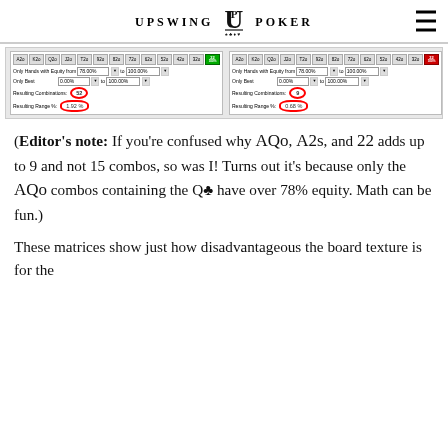UPSWING POKER
[Figure (screenshot): Two poker range analysis panels side by side. Left panel shows: Only Hands with Equity from 78.00% to 100.00%, Only Best 0.00% to 100.00%, Resulting Combinations: 52 (circled in red), Resulting Range %: 1.92% (circled in red). Right panel shows: Only Hands with Equity from 78.00% to 100.00%, Only Best 0.00% to 100.00%, Resulting Combinations: 9 (circled in red), Resulting Range %: 0.68% (circled in red). Both panels have card grid rows at top with green highlighted card for 22.]
(Editor's note: If you're confused why AQo, A2s, and 22 adds up to 9 and not 15 combos, so was I! Turns out it's because only the AQo combos containing the Q♣ have over 78% equity. Math can be fun.)
These matrices show just how disadvantageous the board texture is for the